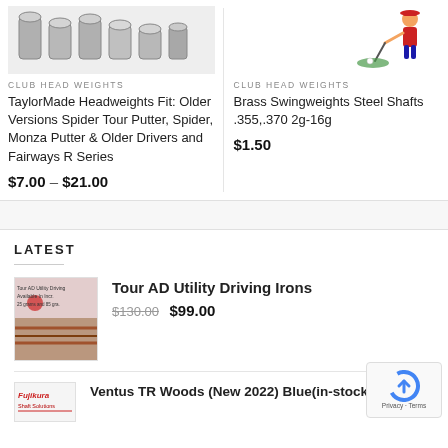[Figure (photo): Multiple cylindrical golf club head weights in silver/steel color arranged in a row]
[Figure (photo): Golfer cartoon illustration swinging a club]
CLUB HEAD WEIGHTS
TaylorMade Headweights Fit: Older Versions Spider Tour Putter, Spider, Monza Putter & Older Drivers and Fairways R Series
$7.00 – $21.00
CLUB HEAD WEIGHTS
Brass Swingweights Steel Shafts .355,.370 2g-16g
$1.50
LATEST
[Figure (photo): Tour AD Utility Driving Irons product thumbnail with Santa graphic and text overlay]
Tour AD Utility Driving Irons
$130.00  $99.00
[Figure (logo): Fujikura brand logo thumbnail]
Ventus TR Woods (New 2022) Blue(in-stock),